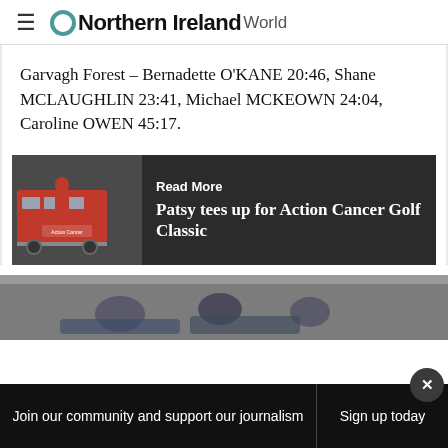Northern Ireland World
Garvagh Forest - Bernadette O'KANE 20:46, Shane MCLAUGHLIN 23:41, Michael MCKEOWN 24:04, Caroline OWEN 45:17.
[Figure (photo): Read More card with photo of person in red jacket near Action Cancer bus on left, dark background on right with text 'Read More Patsy tees up for Action Cancer Golf Classic']
[Figure (photo): Partial photo of people outdoors, gray/overcast background, bottom of page]
Join our community and support our journalism   Sign up today